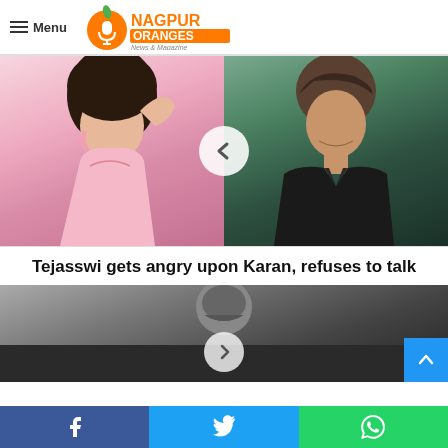Menu — Nagpur Oranges News & Magazine
[Figure (photo): Two celebrities side by side: a woman in a pink floral dress on the left, a man in a black leather jacket on the right, with a play button overlay in the center]
Tejasswi gets angry upon Karan, refuses to talk
[Figure (photo): Black and white photo of a young man, partially visible, with a play button overlay at the bottom center]